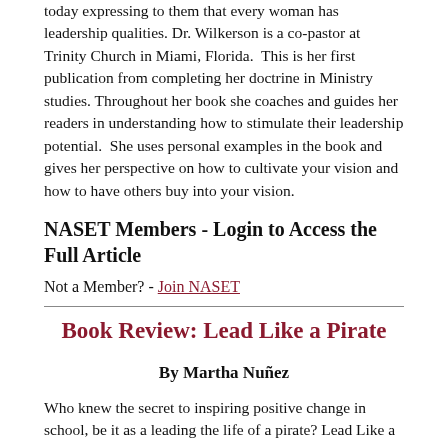today expressing to them that every woman has leadership qualities. Dr. Wilkerson is a co-pastor at Trinity Church in Miami, Florida.  This is her first publication from completing her doctrine in Ministry studies. Throughout her book she coaches and guides her readers in understanding how to stimulate their leadership potential.  She uses personal examples in the book and gives her perspective on how to cultivate your vision and how to have others buy into your vision.
NASET Members - Login to Access the Full Article
Not a Member? - Join NASET
Book Review: Lead Like a Pirate
By Martha Nuñez
Who knew the secret to inspiring positive change in school, be it as a leading the life of a pirate? Lead Like a